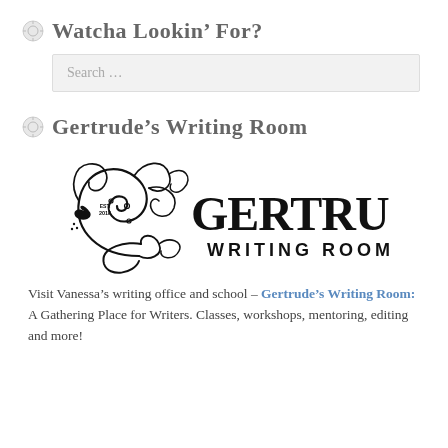Watcha Lookin' For?
Search …
Gertrude's Writing Room
[Figure (logo): Gertrude's Writing Room logo with decorative floral scroll on the left and bold stylized text reading GERTRUDE'S WRITING ROOM, with EST. 2018 in the scroll.]
Visit Vanessa's writing office and school – Gertrude's Writing Room: A Gathering Place for Writers. Classes, workshops, mentoring, editing and more!